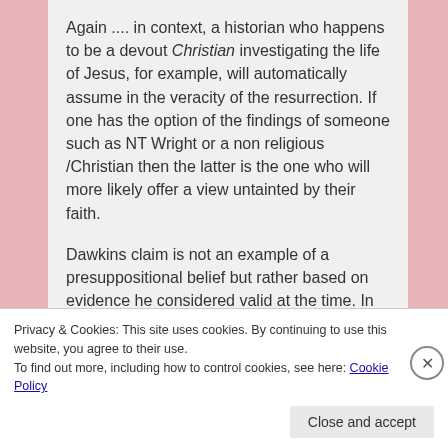Again .... in context, a historian who happens to be a devout Christian investigating the life of Jesus, for example, will automatically assume in the veracity of the resurrection. If one has the option of the findings of someone such as NT Wright or a non religious/Christian then the latter is the one who will more likely offer a view untainted by their faith.
Dawkins claim is not an example of a presuppositional belief but rather based on evidence he considered valid at the time. In fact, this particular view seems to be gaining ground once more. and cannot be simply
Privacy & Cookies: This site uses cookies. By continuing to use this website, you agree to their use.
To find out more, including how to control cookies, see here: Cookie Policy